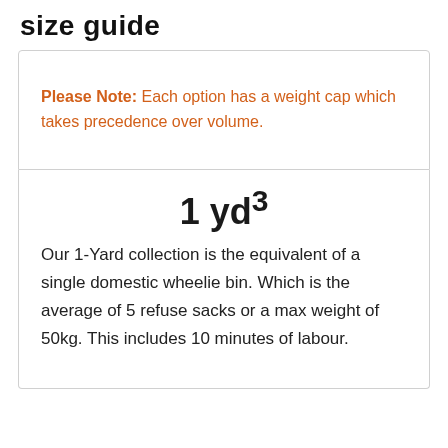size guide
Please Note: Each option has a weight cap which takes precedence over volume.
1 yd³
Our 1-Yard collection is the equivalent of a single domestic wheelie bin. Which is the average of 5 refuse sacks or a max weight of 50kg. This includes 10 minutes of labour.